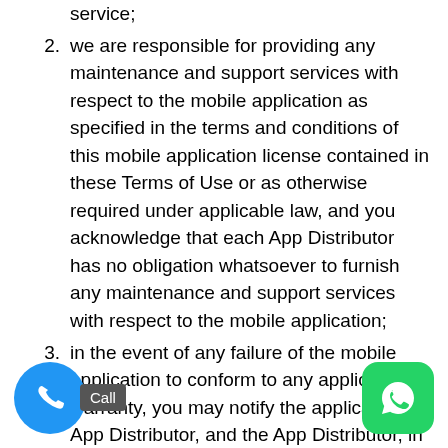service;
we are responsible for providing any maintenance and support services with respect to the mobile application as specified in the terms and conditions of this mobile application license contained in these Terms of Use or as otherwise required under applicable law, and you acknowledge that each App Distributor has no obligation whatsoever to furnish any maintenance and support services with respect to the mobile application;
in the event of any failure of the mobile application to conform to any applicable warranty, you may notify the applicable App Distributor, and the App Distributor, in accordance with its terms and policies